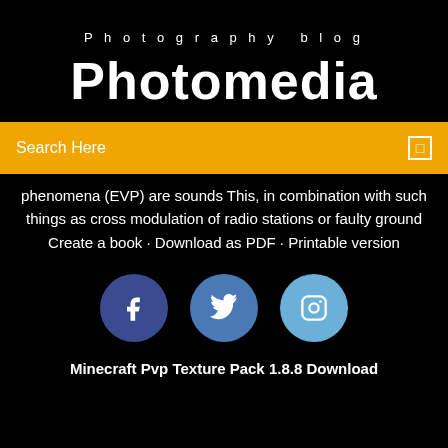Photography blog
Photomedia
Search Here
phenomena (EVP) are sounds This, in combination with such things as cross modulation of radio stations or faulty ground Create a book · Download as PDF · Printable version
[Figure (illustration): Three social media circular icon buttons: Facebook (dark blue), Twitter (medium blue), Instagram (light blue), each containing white icons]
Minecraft Pvp Texture Pack 1.8.8 Download